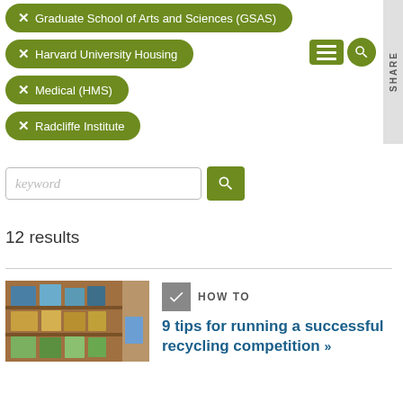✕ Graduate School of Arts and Sciences (GSAS)
✕ Harvard University Housing
✕ Medical (HMS)
✕ Radcliffe Institute
keyword (search input placeholder)
12 results
[Figure (photo): Photo of shelves stocked with recycling/supply bins and boxes in a storage room]
HOW TO
9 tips for running a successful recycling competition »